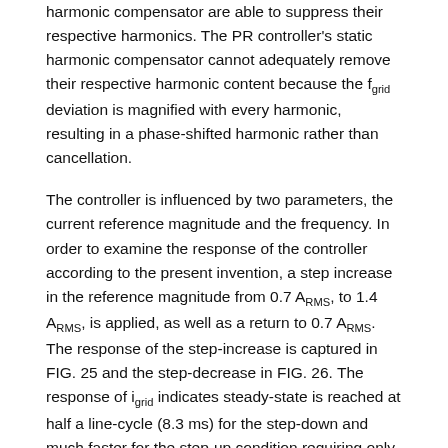harmonic compensator are able to suppress their respective harmonics. The PR controller's static harmonic compensator cannot adequately remove their respective harmonic content because the f_grid deviation is magnified with every harmonic, resulting in a phase-shifted harmonic rather than cancellation.
The controller is influenced by two parameters, the current reference magnitude and the frequency. In order to examine the response of the controller according to the present invention, a step increase in the reference magnitude from 0.7 A_RMS, to 1.4 A_RMS, is applied, as well as a return to 0.7 A_RMS. The response of the step-increase is captured in FIG. 25 and the step-decrease in FIG. 26. The response of i_grid indicates steady-state is reached at half a line-cycle (8.3 ms) for the step-down and much faster for the step-up condition requiring only 6 ms.
In order to examine the response of the APR current controller as the grid frequency changes, the phase error between the grid voltage and the current is measured. A step-change between 59 Hz and 61 Hz is applied in both up and down directions. The step-increase is depicted in FIG.